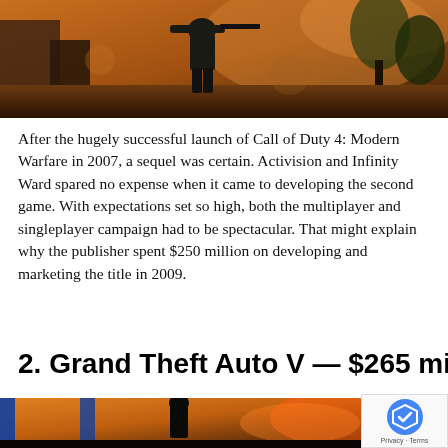[Figure (screenshot): Video game screenshot from Call of Duty showing a soldier with a weapon in a dark, smoky outdoor environment]
After the hugely successful launch of Call of Duty 4: Modern Warfare in 2007, a sequel was certain. Activision and Infinity Ward spared no expense when it came to developing the second game. With expectations set so high, both the multiplayer and singleplayer campaign had to be spectacular. That might explain why the publisher spent $250 million on developing and marketing the title in 2009.
2. Grand Theft Auto V — $265 million
[Figure (screenshot): Video game screenshot from Grand Theft Auto V showing a man in a dark environment]